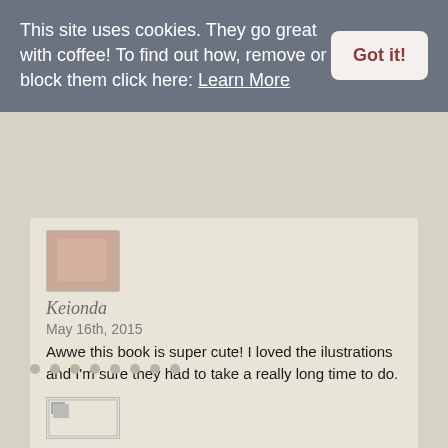This site uses cookies. They go great with coffee! To find out how, remove or block them click here: Learn More
Got it!
[Figure (photo): Small avatar photo of Keionda]
Keionda
May 16th, 2015
Awwe this book is super cute! I loved the ilustrations and I'm sure they had to take a really long time to do. This is perfect for a young Reader. Lovely review. 🙂
[Figure (photo): Small broken/placeholder avatar image for Angela Adams]
Angela Adams